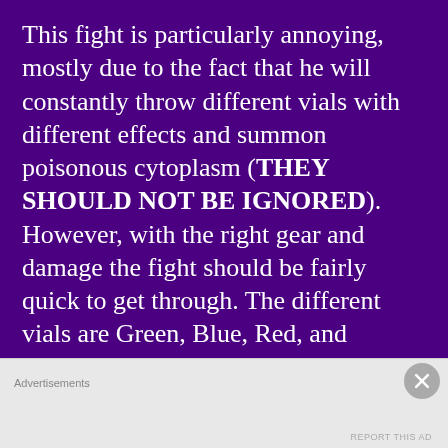This fight is particularly annoying, mostly due to the fact that he will constantly throw different vials with different effects and summon poisonous cytoplasm (THEY SHOULD NOT BE IGNORED). However, with the right gear and damage the fight should be fairly quick to get through. The different vials are Green, Blue, Red, and Purple. The green vial summons multiple cytoplasm that are easily killed, but if ignored will build up your poison meter. The blue vial summons electricity that will track you, but are easily dodged. The red vial will summon fire orbs that will also follow you, but jumping on one of the two ledges will allow you to dodge
Advertisements